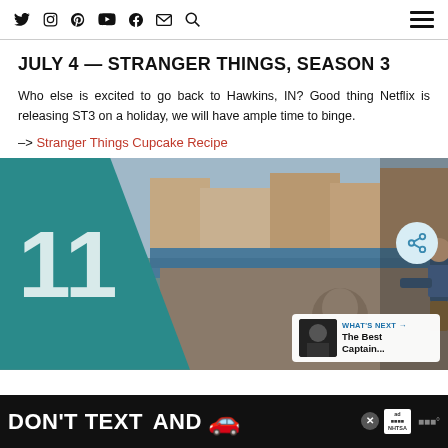Navigation bar with social icons and hamburger menu
JULY 4 — STRANGER THINGS, SEASON 3
Who else is excited to go back to Hawkins, IN? Good thing Netflix is releasing ST3 on a holiday, we will have ample time to binge.
–> Stranger Things Cupcake Recipe
[Figure (photo): Movie/show promotional photo: person on rooftop with Venice cityscape in background, numbered 11 with teal diagonal overlay. Includes share button and 'What's Next – The Best Captain...' overlay.]
DON'T TEXT AND [car emoji] ad NHTSA advertisement banner